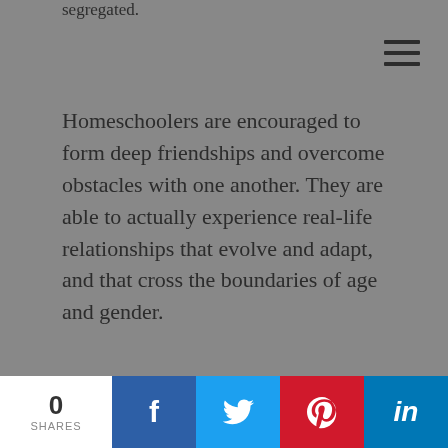segregated.
[Figure (other): Hamburger menu icon (three horizontal lines)]
Homeschoolers are encouraged to form deep friendships and overcome obstacles with one another. They are able to actually experience real-life relationships that evolve and adapt, and that cross the boundaries of age and gender.
0 SHARES | Facebook | Twitter | Pinterest | LinkedIn social share bar